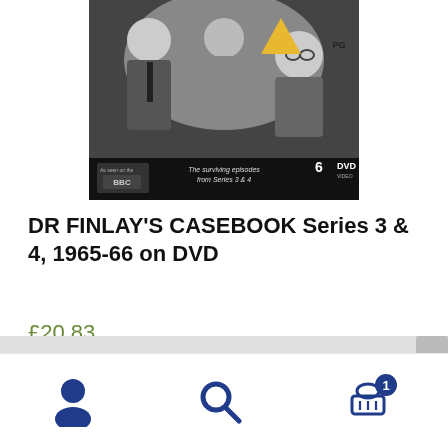[Figure (photo): DVD product image for Dr Finlay's Casebook Series 3 & 4, 1965-66. Black and white photo of actors on cover with a PG rating triangle, BBC logo, text 'The surviving episodes from Series 3 & 4', and '6 DVD' label.]
DR FINLAY'S CASEBOOK Series 3 & 4, 1965-66 on DVD
£20.83
Add to cart